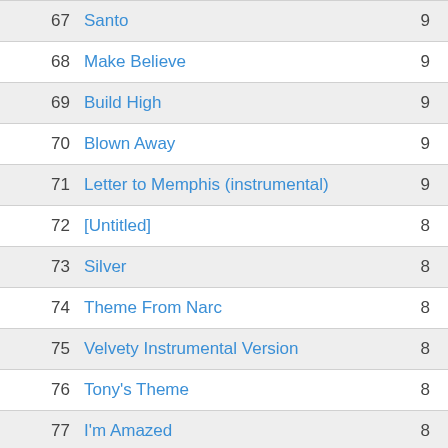| # | Title | Count |
| --- | --- | --- |
| 67 | Santo | 9 |
| 68 | Make Believe | 9 |
| 69 | Build High | 9 |
| 70 | Blown Away | 9 |
| 71 | Letter to Memphis (instrumental) | 9 |
| 72 | [Untitled] | 8 |
| 73 | Silver | 8 |
| 74 | Theme From Narc | 8 |
| 75 | Velvety Instrumental Version | 8 |
| 76 | Tony's Theme | 8 |
| 77 | I'm Amazed | 8 |
| 78 | Letter to Memphis | 8 |
| 79 | Alec Eiffel | 7 |
| 80 | Picture From Pete's Time Ti... | 6 |